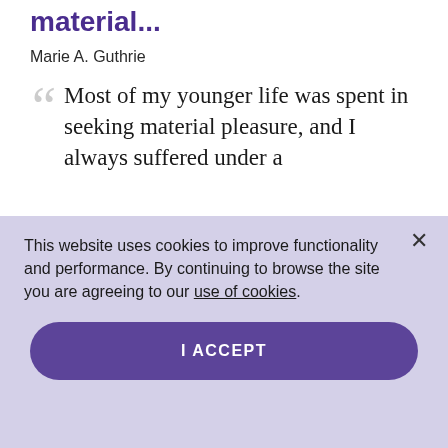material...
Marie A. Guthrie
Most of my younger life was spent in seeking material pleasure, and I always suffered under a
This website uses cookies to improve functionality and performance. By continuing to browse the site you are agreeing to our use of cookies.
I ACCEPT